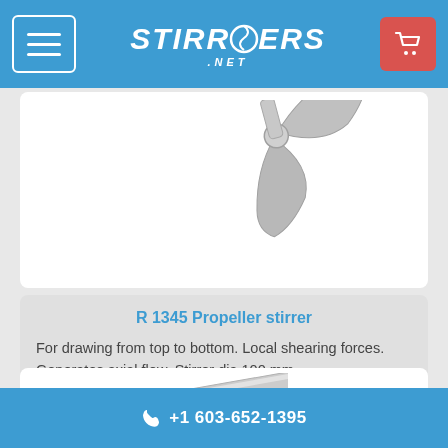STIRRERS.NET
[Figure (photo): Partial view of a propeller stirrer blade, silver/metallic, seen from above on white background]
R 1345 Propeller stirrer
For drawing from top to bottom. Local shearing forces. Generates axial flow. Stirrer dia 100 mm
$341 USD
[Figure (photo): Partial view of a stirrer rod or shaft, metallic, diagonal on white background]
+1 603-652-1395